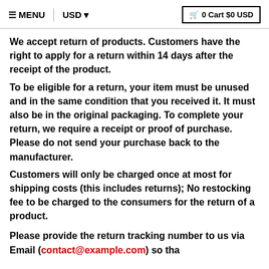≡MENU  |  USD ▾  🛒 0 Cart $0 USD
We accept return of products. Customers have the right to apply for a return within 14 days after the receipt of the product.
To be eligible for a return, your item must be unused and in the same condition that you received it. It must also be in the original packaging. To complete your return, we require a receipt or proof of purchase. Please do not send your purchase back to the manufacturer.
Customers will only be charged once at most for shipping costs (this includes returns); No restocking fee to be charged to the consumers for the return of a product.
Please provide the return tracking number to us via Email (contact@example.com) so that...